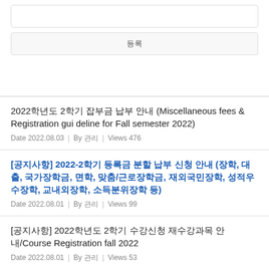등록
2022학년도 2학기 잡부금 납부 안내 (Miscellaneous fees & Registration guideline for Fall semester 2022)
Date 2022.08.03 | By 관리 | Views 476
[공지사항] 2022-2학기 등록금 분할 납부 신청 안내 (장학, 대출, 국가장학금, 면학, 맞춤/근로장학금, 재외국민장학, 성적우수장학, 교내외장학, 소득분위장학 등)
Date 2022.08.01 | By 관리 | Views 99
[공지사항] 2022학년도 2학기 수강신청 재수강과목 안내/Course Registration fall 2022
Date 2022.08.01 | By 관리 | Views 53
2022-2 등록금납부 분할납부 신청기간 안내(Tuition Installment Plan)(~8/12)